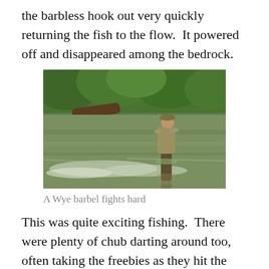the barbless hook out very quickly returning the fish to the flow.  It powered off and disappeared among the bedrock.
[Figure (photo): A person wading in a river (the River Wye), fishing, with green trees and foliage in the background. The angler stands mid-river with water flowing around them.]
A Wye barbel fights hard
This was quite exciting fishing.  There were plenty of chub darting around too, often taking the freebies as they hit the water surface.  A couple of big chub followed that first barbel but then things went quiet.  Around 5 or 6 yards